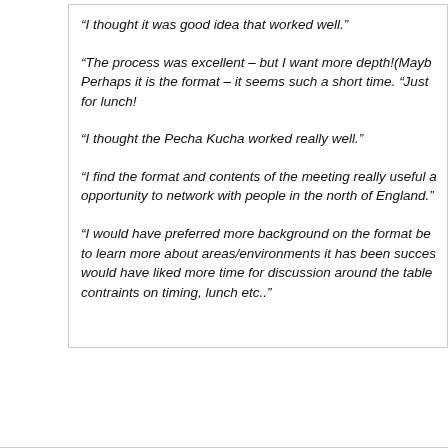“I thought it was good idea that worked well.”
“The process was excellent – but I want more depth!(Maybe Perhaps it is the format – it seems such a short time. “Just for lunch!
“I thought the Pecha Kucha worked really well.”
“I find the format and contents of the meeting really useful a opportunity to network with people in the north of England.”
“I would have preferred more background on the format be to learn more about areas/environments it has been succes would have liked more time for discussion around the table contraints on timing, lunch etc..”